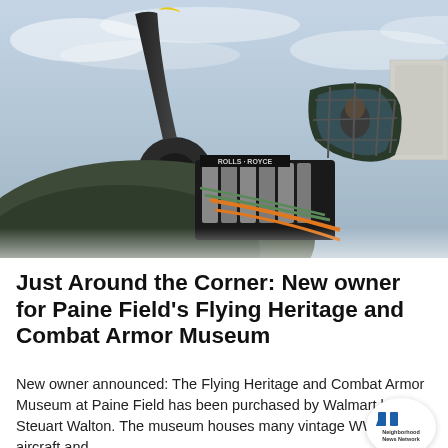[Figure (photo): Close-up photograph of a WWII-era military aircraft (likely a Spitfire) showing the engine cowling open with a Rolls-Royce engine visible, propeller blades, and a pilot visible in the cockpit. Overcast sky in the background.]
Just Around the Corner: New owner for Paine Field's Flying Heritage and Combat Armor Museum
New owner announced: The Flying Heritage and Combat Armor Museum at Paine Field has been purchased by Walmart heir Steuart Walton. The museum houses many vintage WWII aircraft and
[Figure (logo): Neighborhood News Network logo - circular badge with NNN icon and text]